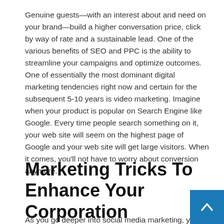Genuine guests—with an interest about and need on your brand—build a higher conversation price, click by way of rate and a sustainable lead. One of the various benefits of SEO and PPC is the ability to streamline your campaigns and optimize outcomes. One of essentially the most dominant digital marketing tendencies right now and certain for the subsequent 5-10 years is video marketing. Imagine when your product is popular on Search Engine like Google. Every time people search something on it, your web site will seem on the highest page of Google and your web site will get large visitors. When it comes, you'll not have to worry about conversion anymore.
Marketing Tricks To Enhance Your Corporation
As you go deeper into social media marketing, y